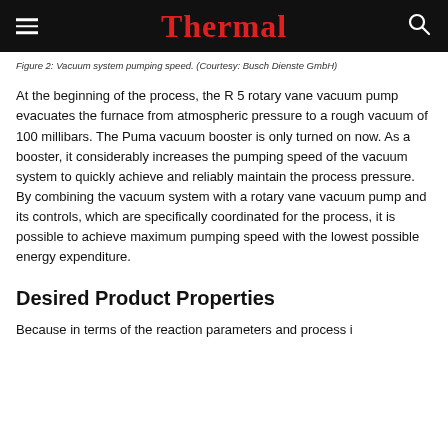Thermal
Figure 2: Vacuum system pumping speed. (Courtesy: Busch Dienste GmbH)
At the beginning of the process, the R 5 rotary vane vacuum pump evacuates the furnace from atmospheric pressure to a rough vacuum of 100 millibars. The Puma vacuum booster is only turned on now. As a booster, it considerably increases the pumping speed of the vacuum system to quickly achieve and reliably maintain the process pressure. By combining the vacuum system with a rotary vane vacuum pump and its controls, which are specifically coordinated for the process, it is possible to achieve maximum pumping speed with the lowest possible energy expenditure.
Desired Product Properties
Because in terms of the reaction parameters and process i…